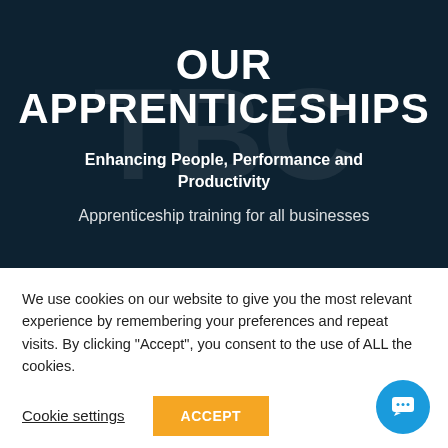OUR APPRENTICESHIPS
Enhancing People, Performance and Productivity
Apprenticeship training for all businesses
We use cookies on our website to give you the most relevant experience by remembering your preferences and repeat visits. By clicking “Accept”, you consent to the use of ALL the cookies.
Cookie settings
ACCEPT